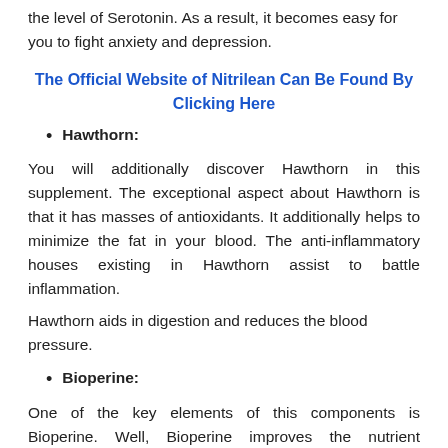the level of Serotonin. As a result, it becomes easy for you to fight anxiety and depression.
The Official Website of Nitrilean Can Be Found By Clicking Here
Hawthorn:
You will additionally discover Hawthorn in this supplement. The exceptional aspect about Hawthorn is that it has masses of antioxidants. It additionally helps to minimize the fat in your blood. The anti-inflammatory houses existing in Hawthorn assist to battle inflammation.
Hawthorn aids in digestion and reduces the blood pressure.
Bioperine:
One of the key elements of this components is Bioperine. Well, Bioperine improves the nutrient absorption in your